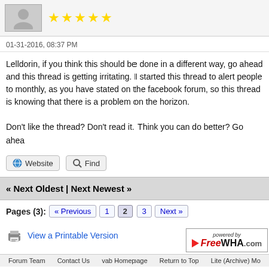[Figure (screenshot): User avatar (grey silhouette) and five gold stars rating]
01-31-2016, 08:37 PM
Lelldorin, if you think this should be done in a different way, go ahead and this thread is getting irritating. I started this thread to alert people to monthly, as you have stated on the facebook forum, so this thread is knowing that there is a problem on the horizon.

Don't like the thread? Don't read it. Think you can do better? Go ahea
Website  Find
« Next Oldest | Next Newest »
Pages (3):  « Previous  1  2  3  Next »
View a Printable Version
Users browsing this thread: 2 Guest(s)
[Figure (logo): Powered by FreeWHA.com badge]
Forum Team   Contact Us   vab Homepage   Return to Top   Lite (Archive) Mo